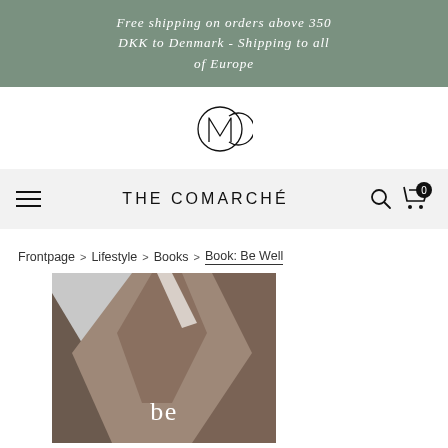Free shipping on orders above 350 DKK to Denmark - Shipping to all of Europe
[Figure (logo): The Comarché logo — a stylized overlapping circle and letter M monogram in thin black lines]
THE COMARCHÉ
Frontpage > Lifestyle > Books > Book: Be Well
[Figure (photo): Book cover of 'Be Well' showing dramatic rocky mountain cliffs with the word 'be' in white serif font overlaid at the bottom center]